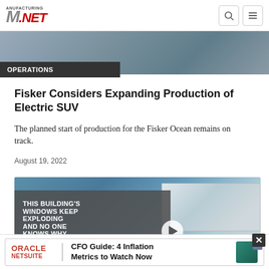Manufacturing.NET
[Figure (photo): Partial view of a vehicle or mechanical subject, grayscale/muted tones, top cropped image]
OPERATIONS
Fisker Considers Expanding Production of Electric SUV
The planned start of production for the Fisker Ocean remains on track.
August 19, 2022
[Figure (screenshot): Video thumbnail showing a building with exploding windows. Text overlay reads: THIS BUILDING'S WINDOWS KEEP EXPLODING AND NO ONE KNOWS WHY. Play button visible.]
[Figure (advertisement): Oracle NetSuite ad banner: CFO Guide: 4 Inflation Metrics to Watch Now]